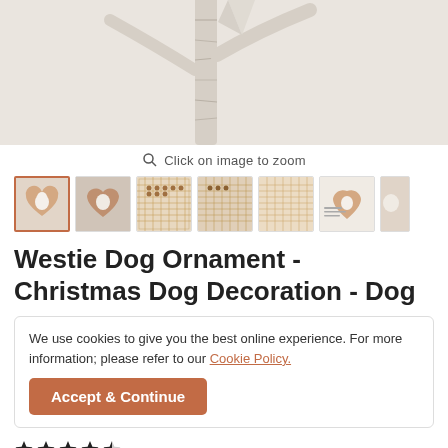[Figure (photo): Main product image area showing a light grey/beige background with a partial view of a birch tree branch and a decorative heart-shaped ornament with a white dog (Westie)]
Click on image to zoom
[Figure (photo): Row of product thumbnails: first thumbnail (active/selected) shows Westie dog heart ornament hanging on branch, second shows another angle of heart ornament with Westie, remaining thumbnails show grid/chart style images, last visible thumbnail shows dog ornament with text]
Westie Dog Ornament - Christmas Dog Decoration - Dog
We use cookies to give you the best online experience. For more information; please refer to our Cookie Policy.
Accept & Continue
[Figure (other): Star rating row showing approximately 4.5 stars]